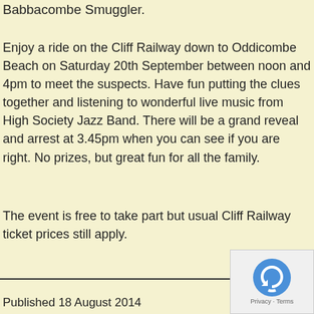Babbacombe Smuggler.
Enjoy a ride on the Cliff Railway down to Oddicombe Beach on Saturday 20th September between noon and 4pm to meet the suspects. Have fun putting the clues together and listening to wonderful live music from High Society Jazz Band. There will be a grand reveal and arrest at 3.45pm when you can see if you are right. No prizes, but great fun for all the family.
The event is free to take part but usual Cliff Railway ticket prices still apply.
Published 18 August 2014